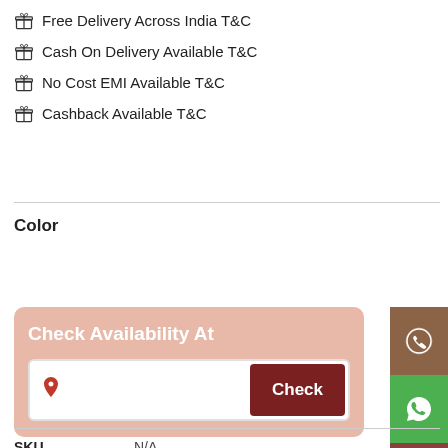Free Delivery Across India T&C
Cash On Delivery Available T&C
No Cost EMI Available T&C
Cashback Available T&C
Color
[Figure (infographic): Check Availability At widget with a text input field containing a map pin icon and a dark red Check button]
| SKU | N/A |
| --- | --- |